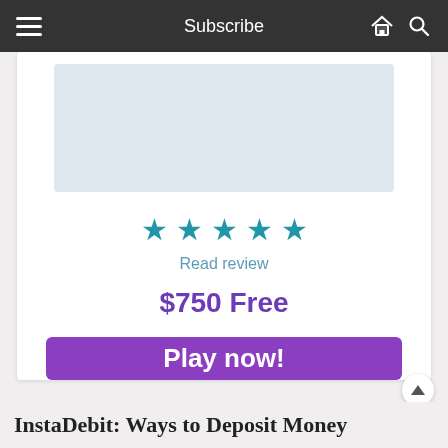Subscribe
[Figure (other): Light blue/grey rectangular image placeholder inside a white card]
[Figure (other): Five blue star rating icons]
Read review
$750 Free
Play now!
InstaDebit: Ways to Deposit Money